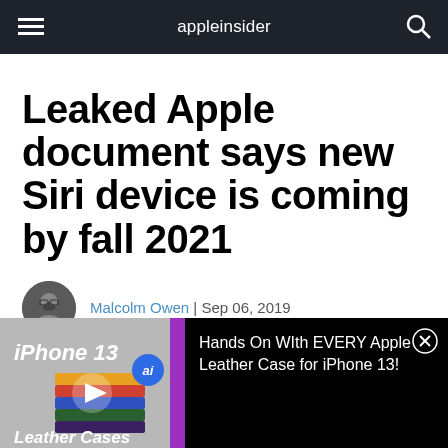appleinsider
Leaked Apple document says new Siri device is coming by fall 2021
Malcolm Owen | Sep 06, 2019
[Figure (screenshot): Video advertisement thumbnail showing iPhone 13 Leather Cases with play button overlay, AppleInsider ai logo badge, and text: Hands On With EVERY Apple Leather Case for iPhone 13!]